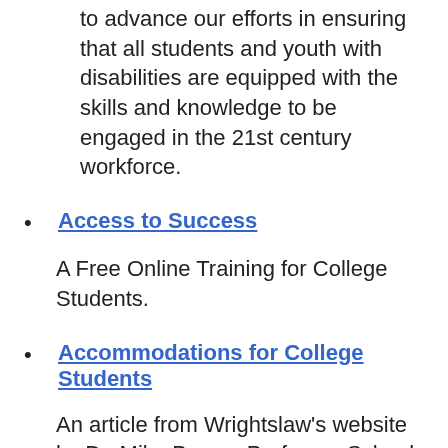to advance our efforts in ensuring that all students and youth with disabilities are equipped with the skills and knowledge to be engaged in the 21st century workforce.
Access to Success
A Free Online Training for College Students.
Accommodations for College Students
An article from Wrightslaw's website by Dr. Mike Brown, Professor School Psychology, East Carolina University